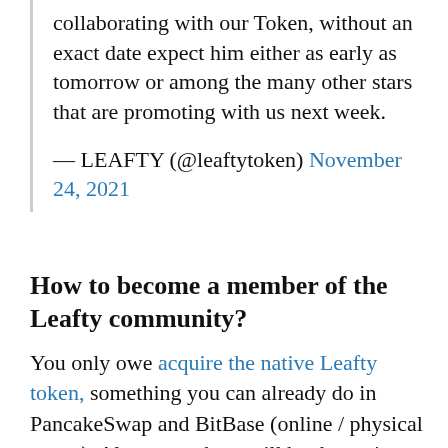collaborating with our Token, without an exact date expect him either as early as tomorrow or among the many other stars that are promoting with us next week.
— LEAFTY (@leaftytoken) November 24, 2021
How to become a member of the Leafty community?
You only owe acquire the native Leafty token, something you can already do in PancakeSwap and BitBase (online / physical stores). Also, soon there will be the option to buy it on other platforms and at BitBase ATMs (the cryptocurrency company with the most ATMs